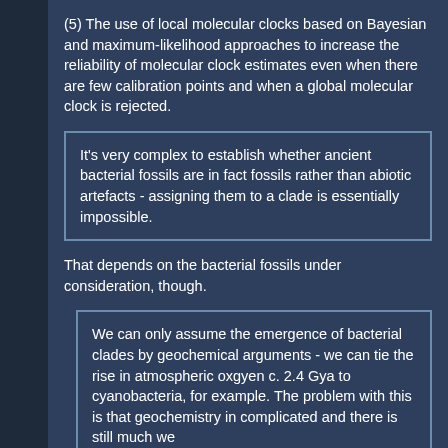(5) The use of local molecular clocks based on Bayesian and maximum-likelihood approaches to increase the reliability of molecular clock estimates even when there are few calibration points and when a global molecular clock is rejected.
It's very complex to establish whether ancient bacterial fossils are in fact fossils rather than abiotic artefacts - assigning them to a clade is essentially impossible.
That depends on the bacterial fossils under consideration, though.
We can only assume the emergence of bacterial clades by geochemical arguments - we can tie the rise in atmospheric oxgyen c. 2.4 Gya to cyanobacteria, for example. The problem with this is that geochemistry in complicated and there is still much we